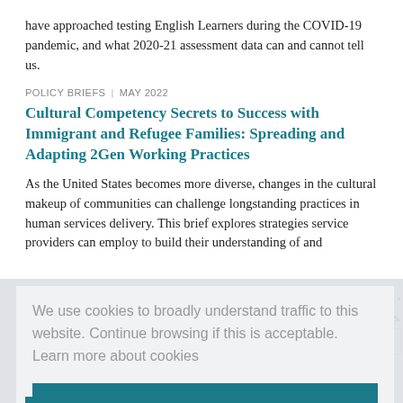have approached testing English Learners during the COVID-19 pandemic, and what 2020-21 assessment data can and cannot tell us.
POLICY BRIEFS | MAY 2022
Cultural Competency Secrets to Success with Immigrant and Refugee Families: Spreading and Adapting 2Gen Working Practices
As the United States becomes more diverse, changes in the cultural makeup of communities can challenge longstanding practices in human services delivery. This brief explores strategies service providers can employ to build their understanding of and
We use cookies to broadly understand traffic to this website. Continue browsing if this is acceptable.  Learn more about cookies
I understand